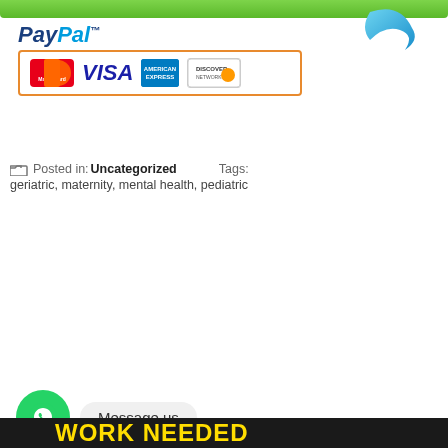[Figure (infographic): Green top bar with blue arrow icon on right]
[Figure (logo): PayPal logo with payment card icons: MasterCard, VISA, American Express, Discover]
Posted in: Uncategorized   Tags: geriatric, maternity, mental health, pediatric
Order Management
[Figure (screenshot): Login form with Username or E-mail field, Password field, Login button, Lost password? and Register? links]
[Figure (infographic): WhatsApp circle icon with Message us speech bubble and WORK NEEDED yellow text on dark background]